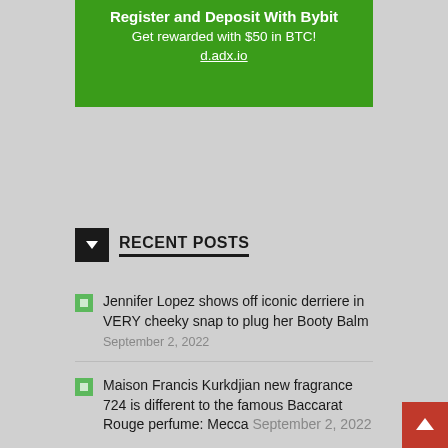[Figure (other): Green advertisement banner for Bybit: 'Register and Deposit With Bybit', 'Get rewarded with $50 in BTC!', 'd.adx.io']
RECENT POSTS
Jennifer Lopez shows off iconic derriere in VERY cheeky snap to plug her Booty Balm — September 2, 2022
Maison Francis Kurkdjian new fragrance 724 is different to the famous Baccarat Rouge perfume: Mecca September 2, 2022
Mackay Queensland bakery owner buys a